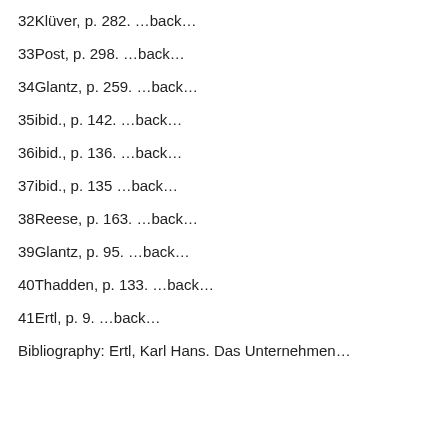32Klüver, p. 282. …back…
33Post, p. 298. …back…
34Glantz, p. 259. …back…
35ibid., p. 142. …back…
36ibid., p. 136. …back…
37ibid., p. 135 …back…
38Reese, p. 163. …back…
39Glantz, p. 95. …back…
40Thadden, p. 133. …back…
41Ertl, p. 9. …back…
Bibliography: Ertl, Karl Hans. Das Unternehmen…